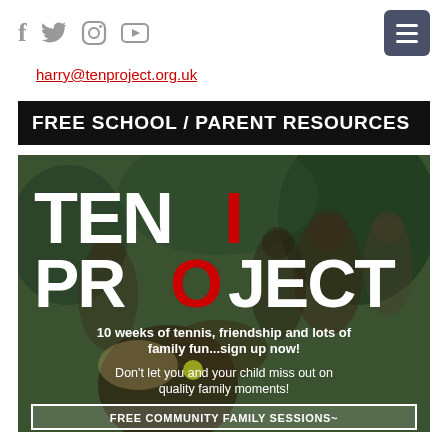Social icons: Facebook, Twitter, Instagram, YouTube | Menu button
harry@tenproject.org.uk
FREE SCHOOL / PARENT RESOURCES
[Figure (photo): Ten Project logo overlaid on blurred photo of children playing tennis. Text reads: 10 weeks of tennis, friendship and lots of family fun...sign up now! Don't let you and your child miss out on quality family moments! FREE COMMUNITY FAMILY SESSIONS~]